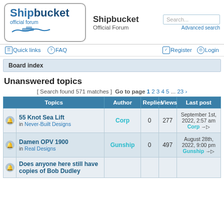[Figure (logo): Shipbucket official forum logo with ship silhouette]
Shipbucket Official Forum
Search... Advanced search
Quick links  FAQ  Register  Login
Board index
Unanswered topics
[ Search found 571 matches ]  Go to page 1 2 3 4 5 ... 23
| Topics | Author | Replies | Views | Last post |
| --- | --- | --- | --- | --- |
| 55 Knot Sea Lift in Never-Built Designs | Corp | 0 | 277 | September 1st, 2022, 2:57 am Corp |
| Damen OPV 1900 in Real Designs | Gunship | 0 | 497 | August 28th, 2022, 9:00 pm Gunship |
| Does anyone here still have copies of Bob Dudley... |  |  |  |  |